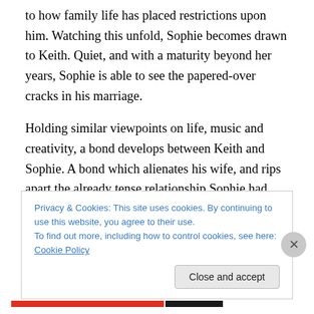to how family life has placed restrictions upon him. Watching this unfold, Sophie becomes drawn to Keith. Quiet, and with a maturity beyond her years, Sophie is able to see the papered-over cracks in his marriage.
Holding similar viewpoints on life, music and creativity, a bond develops between Keith and Sophie. A bond which alienates his wife, and rips apart the already tense relationship Sophie had begun to form with Lauren. A bond which Doremus goes to great lengths to portray as having been less sparked by lustful desire but instead conceived
Privacy & Cookies: This site uses cookies. By continuing to use this website, you agree to their use.
To find out more, including how to control cookies, see here: Cookie Policy